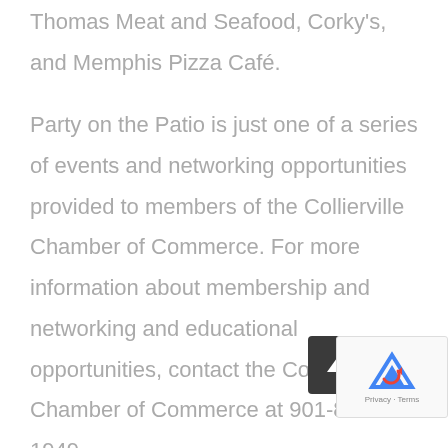Thomas Meat and Seafood, Corky's, and Memphis Pizza Café.
Party on the Patio is just one of a series of events and networking opportunities provided to members of the Collierville Chamber of Commerce. For more information about membership and networking and educational opportunities, contact the Collierville Chamber of Commerce at 901-853-1949.